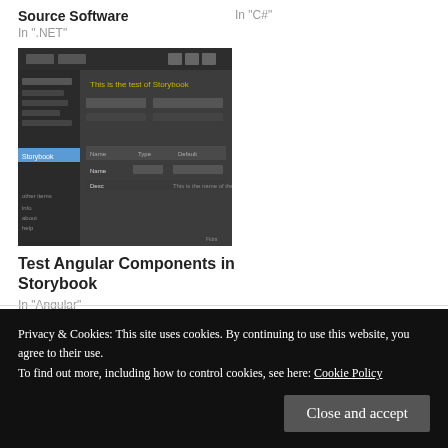Source Software
In ".NET"
In "C#"
[Figure (screenshot): Screenshot of a dark-themed application UI, possibly a testing or storybook interface showing components in a dark sidebar layout.]
Test Angular Components in Storybook
In "Angular"
Privacy & Cookies: This site uses cookies. By continuing to use this website, you agree to their use.
To find out more, including how to control cookies, see here: Cookie Policy
Close and accept